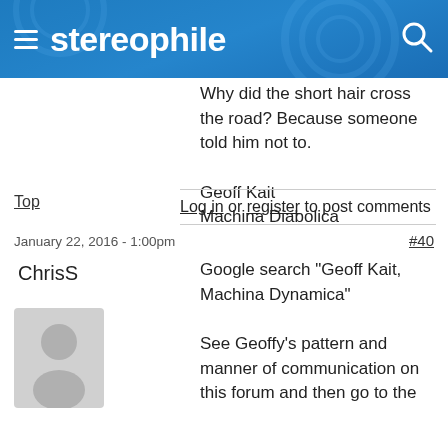stereophile
Why did the short hair cross the road? Because someone told him not to.

Geoff Kait
Machina Diabolica
Top
Log in or register to post comments
January 22, 2016 - 1:00pm
#40
ChrisS
[Figure (illustration): Default user avatar - grey silhouette of a person on light grey background]
Google search "Geoff Kait, Machina Dynamica"

See Geoffy's pattern and manner of communication on this forum and then go to the